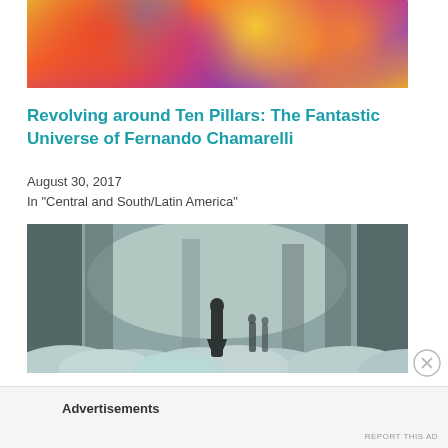[Figure (illustration): Colorful abstract illustration with swirling shapes, vivid colors including orange, red, pink, purple, blue, yellow and green — decorative art piece]
Revolving around Ten Pillars: The Fantastic Universe of Fernando Chamarelli
August 30, 2017
In "Central and South/Latin America"
[Figure (photo): Dark atmospheric photograph of a figure standing in a snow-covered or foggy ruined interior space with large stone columns, moody and cinematic]
Advertisements